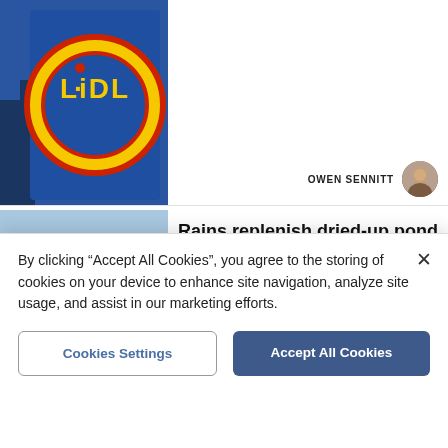[Figure (photo): Lidl store sign with yellow circle logo on blue background, partially visible at top of page]
OWEN SENNITT
[Figure (photo): Scenic village pond with reflections, church in background, autumn leaves on water]
Rains replenish dried-up pond in picturesque village
CHRIS BISHOP
[Figure (photo): Police officer hat partially visible, partially cropped at bottom]
UPDATED
By clicking "Accept All Cookies", you agree to the storing of cookies on your device to enhance site navigation, analyze site usage, and assist in our marketing efforts.
Cookies Settings
Accept All Cookies